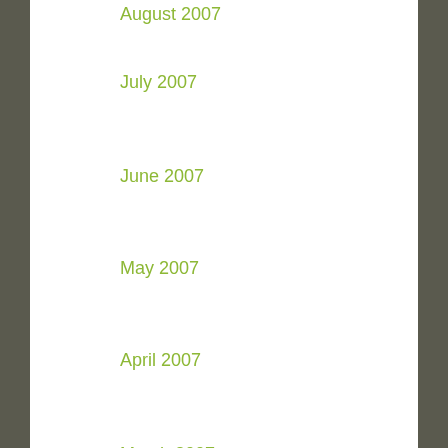August 2007
July 2007
June 2007
May 2007
April 2007
March 2007
February 2007
January 2007
December 2006
November 2006
October 2006
September 2006